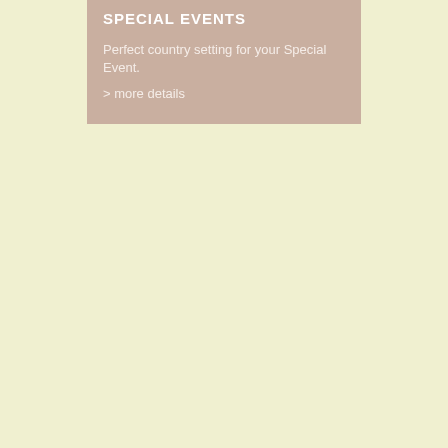SPECIAL EVENTS
Perfect country setting for your Special Event.
> more details